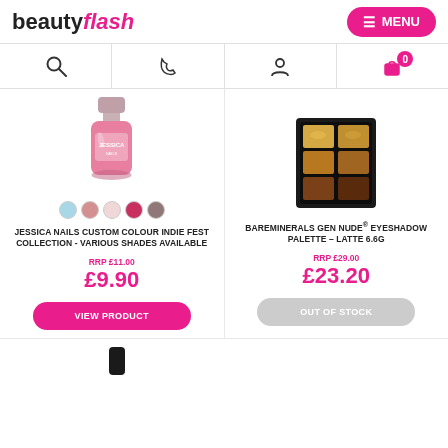beauty flash
[Figure (screenshot): Nav icons: search, phone, user, cart with badge 0]
[Figure (photo): Jessica nail polish bottle in pink with colour swatches below]
JESSICA NAILS CUSTOM COLOUR INDIE FEST COLLECTION - VARIOUS SHADES AVAILABLE
RRP £11.00
£9.90
VIEW PRODUCT
[Figure (photo): BareMinerals eyeshadow palette with warm/neutral tones]
BAREMINERALS GEN NUDE® EYESHADOW PALETTE - LATTE 6.6G
RRP £29.00
£23.20
OUT OF STOCK
[Figure (photo): Partial view of a product at bottom (dark cap visible)]